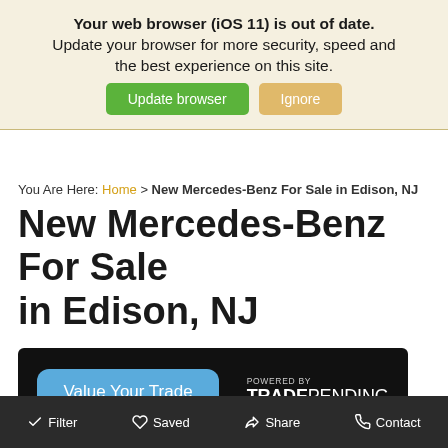Your web browser (iOS 11) is out of date. Update your browser for more security, speed and the best experience on this site. [Update browser] [Ignore]
You Are Here: Home > New Mercedes-Benz For Sale in Edison, NJ
New Mercedes-Benz For Sale in Edison, NJ
[Figure (other): Value Your Trade widget banner with blue button and POWERED BY TRADEPENDING text on black background]
Filter   Saved   Share   Contact